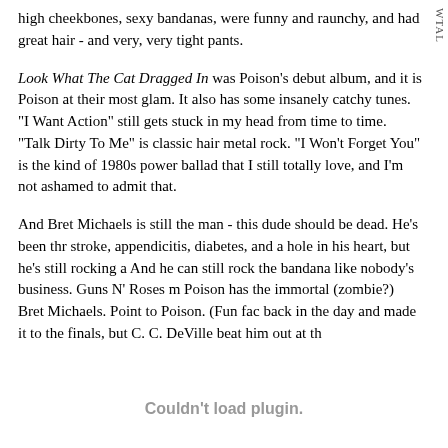high cheekbones, sexy bandanas, were funny and raunchy, and had great hair - and very, very tight pants.
Look What The Cat Dragged In was Poison's debut album, and it is Poison at their most glam. It also has some insanely catchy tunes. "I Want Action" still gets stuck in my head from time to time. "Talk Dirty To Me" is classic hair metal rock. "I Won't Forget You" is the kind of 1980s power ballad that I still totally love, and I'm not ashamed to admit that.
And Bret Michaels is still the man - this dude should be dead. He's been thr stroke, appendicitis, diabetes, and a hole in his heart, but he's still rocking a And he can still rock the bandana like nobody's business. Guns N' Roses m Poison has the immortal (zombie?) Bret Michaels. Point to Poison. (Fun fac back in the day and made it to the finals, but C. C. DeVille beat him out at th
Couldn't load plugin.